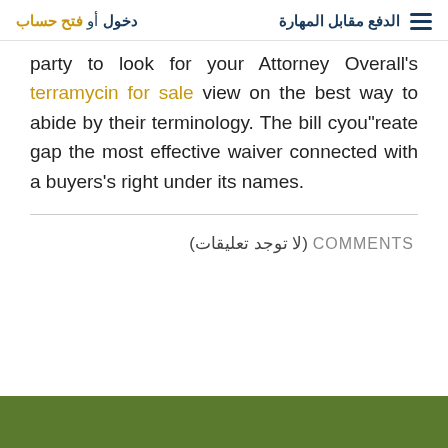الدفع مقابل المهارة  دخول أو فتح حساب
party to look for your Attorney Overall's terramycin for sale view on the best way to abide by their terminology. The bill cyou"reate gap the most effective waiver connected with a buyers's right under its names.
0 COMMENTS (لا توجد تعليقات)